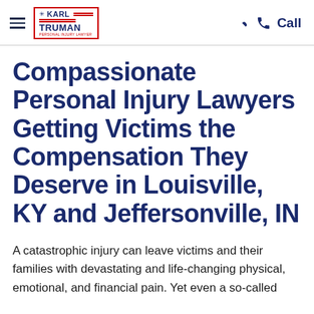Karl Truman Personal Injury Lawyer — Call
Compassionate Personal Injury Lawyers Getting Victims the Compensation They Deserve in Louisville, KY and Jeffersonville, IN
A catastrophic injury can leave victims and their families with devastating and life-changing physical, emotional, and financial pain. Yet even a so-called "minor" injury can still lead to significant, so-called